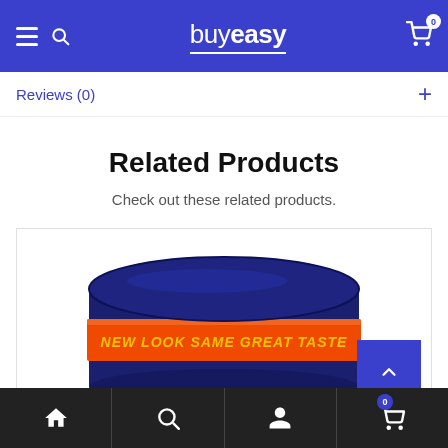buyeasy — navigation bar with hamburger menu, search icon, logo, and cart (0)
Reviews (0)
Related Products
Check out these related products.
[Figure (photo): Top of a dark blue container with an orange band reading 'NEW LOOK SAME GREAT TASTE']
Bottom navigation bar with home, search, account, and cart (0) icons